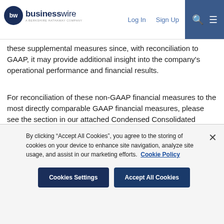[Figure (logo): BusinessWire logo - a Berkshire Hathaway Company, with nav links Log In, Sign Up, search and menu icons]
these supplemental measures since, with reconciliation to GAAP, it may provide additional insight into the company's operational performance and financial results.
For reconciliation of these non-GAAP financial measures to the most directly comparable GAAP financial measures, please see the section in our attached Condensed Consolidated Income Statements entitled “Non-GAAP Financial Measures.”
About F5
By clicking “Accept All Cookies”, you agree to the storing of cookies on your device to enhance site navigation, analyze site usage, and assist in our marketing efforts. Cookie Policy
Cookies Settings | Accept All Cookies